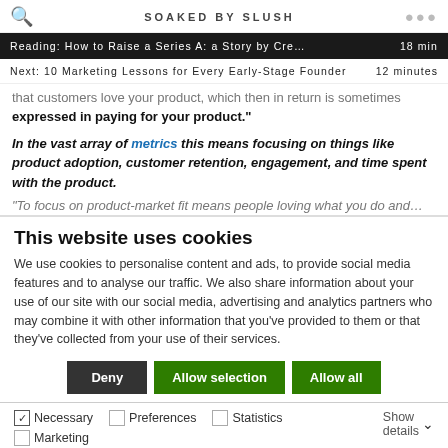SOAKED BY SLUSH
Reading: How to Raise a Series A: a Story by Cre… 18 min
Next: 10 Marketing Lessons for Every Early-Stage Founder 12 minutes
that customers love your product, which then in return is sometimes expressed in paying for your product."
In the vast array of metrics this means focusing on things like product adoption, customer retention, engagement, and time spent with the product.
"To focus on product-market fit means people loving what you do and…
This website uses cookies
We use cookies to personalise content and ads, to provide social media features and to analyse our traffic. We also share information about your use of our site with our social media, advertising and analytics partners who may combine it with other information that you've provided to them or that they've collected from your use of their services.
Deny | Allow selection | Allow all
Necessary  Preferences  Statistics  Marketing  Show details